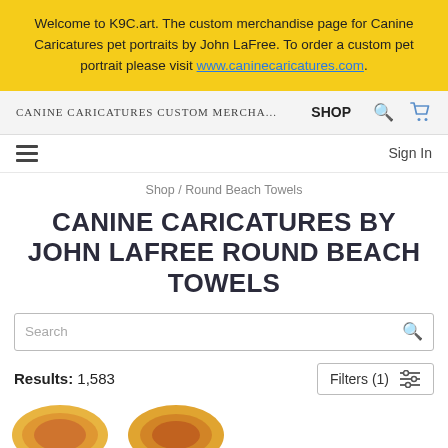Welcome to K9C.art. The custom merchandise page for Canine Caricatures pet portraits by John LaFree. To order a custom pet portrait please visit www.caninecaricatures.com.
CANINE CARICATURES CUSTOM MERCHA...   SHOP
Sign In
Shop / Round Beach Towels
CANINE CARICATURES BY JOHN LAFREE ROUND BEACH TOWELS
Search
Results: 1,583   Filters (1)